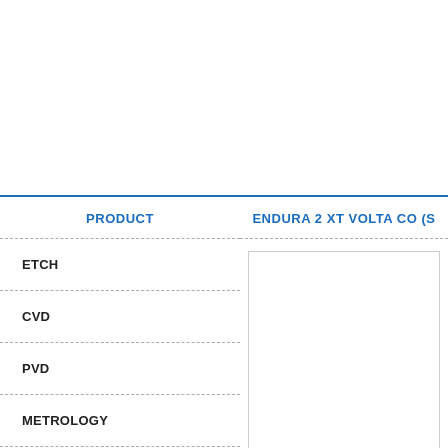| PRODUCT |
| --- |
| ETCH |
| CVD |
| PVD |
| METROLOGY |
| ENDURA 2 XT VOLTA CO (S... |
| --- |
|  |